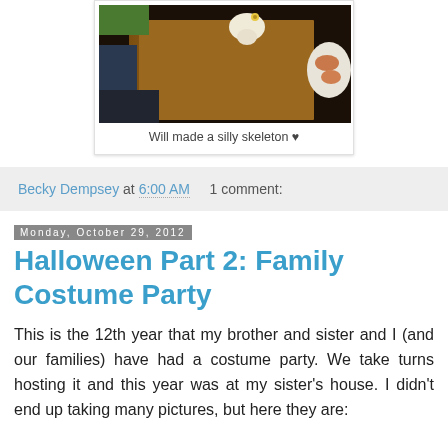[Figure (photo): A photo showing a wooden surface/furniture with a skeleton figure, partially visible. Photo is shown in a white bordered card.]
Will made a silly skeleton ♥
Becky Dempsey at 6:00 AM    1 comment:
Monday, October 29, 2012
Halloween Part 2: Family Costume Party
This is the 12th year that my brother and sister and I (and our families) have had a costume party.  We take turns hosting it and this year was at my sister's house.  I didn't end up taking many pictures, but here they are: